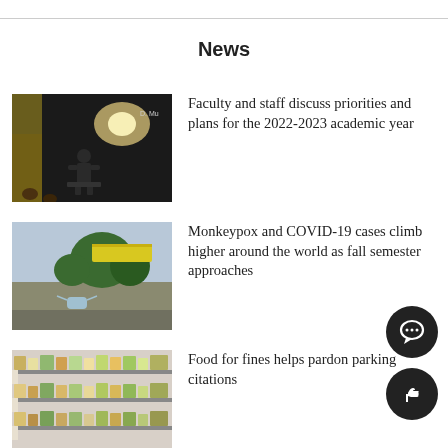News
[Figure (photo): A person speaking on a dark stage at a podium with a light behind them]
Faculty and staff discuss priorities and plans for the 2022-2023 academic year
[Figure (photo): Outdoor scene with trees, a sign, and a face mask on the ground]
Monkeypox and COVID-19 cases climb higher around the world as fall semester approaches
[Figure (photo): Grocery store shelves stocked with items]
Food for fines helps pardon parking citations
[Figure (illustration): Teal heart shape with bandage/cross decoration]
August brings awareness to the importance of immunizations